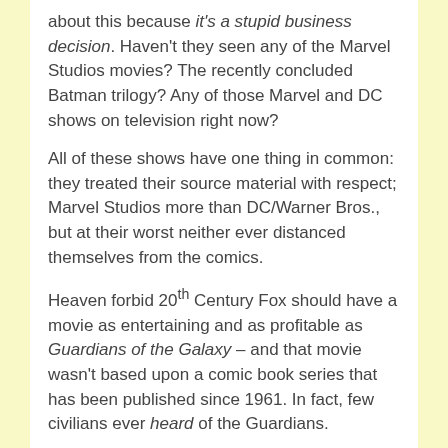about this because it's a stupid business decision. Haven't they seen any of the Marvel Studios movies? The recently concluded Batman trilogy? Any of those Marvel and DC shows on television right now?
All of these shows have one thing in common: they treated their source material with respect; Marvel Studios more than DC/Warner Bros., but at their worst neither ever distanced themselves from the comics.
Heaven forbid 20th Century Fox should have a movie as entertaining and as profitable as Guardians of the Galaxy – and that movie wasn't based upon a comic book series that has been published since 1961. In fact, few civilians ever heard of the Guardians.
Now we have what, for me, may very well be the final nail in the new Fantastic Four movie coffin. Over at Collider, actor Toby Kebbell gave us the bird's eye lowdown on the character he portrays in the film